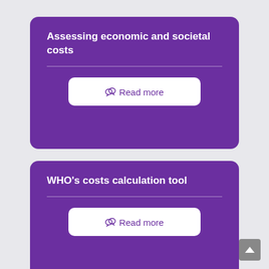Assessing economic and societal costs
Read more
WHO's costs calculation tool
Read more